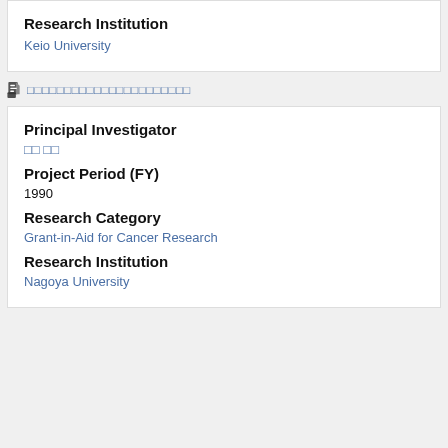Research Institution
Keio University
（日本語タイトル等）
Principal Investigator
研究 代表
Project Period (FY)
1990
Research Category
Grant-in-Aid for Cancer Research
Research Institution
Nagoya University